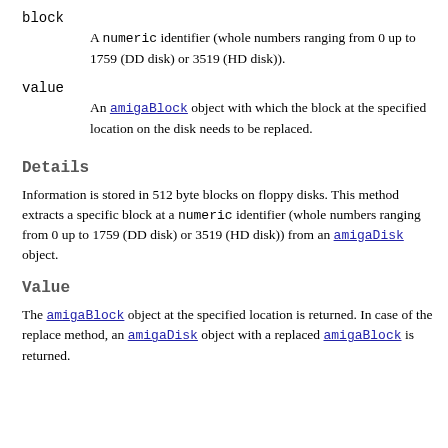block
  A numeric identifier (whole numbers ranging from 0 up to 1759 (DD disk) or 3519 (HD disk)).
value
  An amigaBlock object with which the block at the specified location on the disk needs to be replaced.
Details
Information is stored in 512 byte blocks on floppy disks. This method extracts a specific block at a numeric identifier (whole numbers ranging from 0 up to 1759 (DD disk) or 3519 (HD disk)) from an amigaDisk object.
Value
The amigaBlock object at the specified location is returned. In case of the replace method, an amigaDisk object with a replaced amigaBlock is returned.